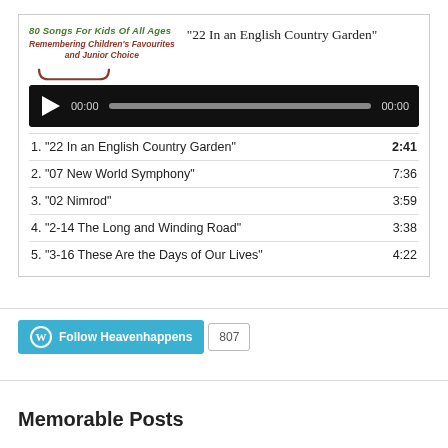80 Songs For Kids Of All Ages
Remembering Children's Favourites and Junior Choice
“22 In an English Country Garden”
[Figure (other): Audio player with play button, time display 00:00, progress bar, and end time 00:00]
1. “22 In an English Country Garden”  2:41
2. “07 New World Symphony”  7:36
3. “02 Nimrod”  3:59
4. “2-14 The Long and Winding Road”  3:38
5. “3-16 These Are the Days of Our Lives”  4:22
Follow Heavenhappens  807
Memorable Posts